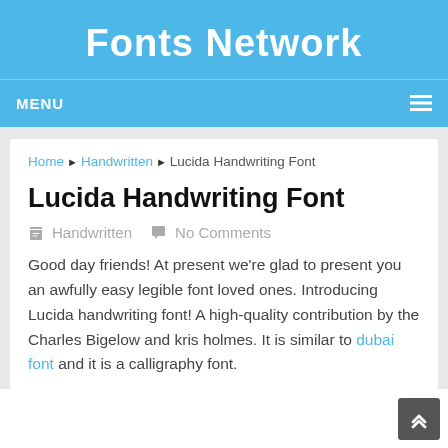Fonts Network
MENU
Home ▶ Handwritten ▶ Lucida Handwriting Font
Lucida Handwriting Font
Handwritten   No Comments
Good day friends! At present we're glad to present you an awfully easy legible font loved ones. Introducing Lucida handwriting font! A high-quality contribution by the Charles Bigelow and kris holmes. It is similar to dubai font and it is a calligraphy font.